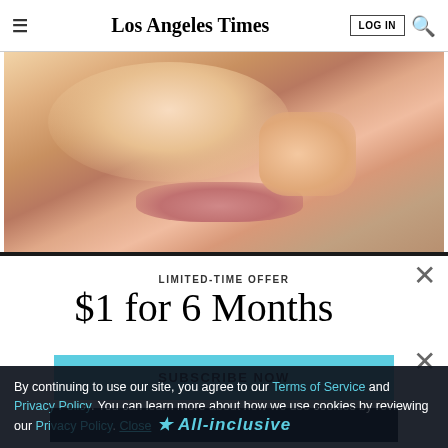Los Angeles Times | LOG IN | Search
[Figure (photo): Close-up photo of a person's face showing the area around the nose and lips, with a finger touching near the lip area.]
LIMITED-TIME OFFER
$1 for 6 Months
SUBSCRIBE NOW
By continuing to use our site, you agree to our Terms of Service and Privacy Policy. You can learn more about how we use cookies by reviewing our Privacy Policy. Close